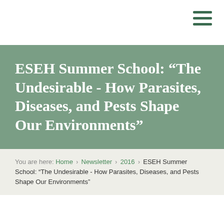ESEH Summer School: “The Undesirable - How Parasites, Diseases, and Pests Shape Our Environments”
You are here: Home › Newsletter › 2016 › ESEH Summer School: “The Undesirable - How Parasites, Diseases, and Pests Shape Our Environments”